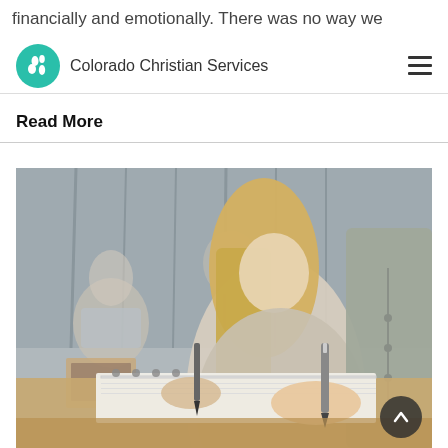financially and emotionally. There was no way we
Colorado Christian Services
Read More
[Figure (photo): Students sitting at a table writing in notebooks, with a blonde woman holding a pen in focus in the foreground and other students blurred in the background.]